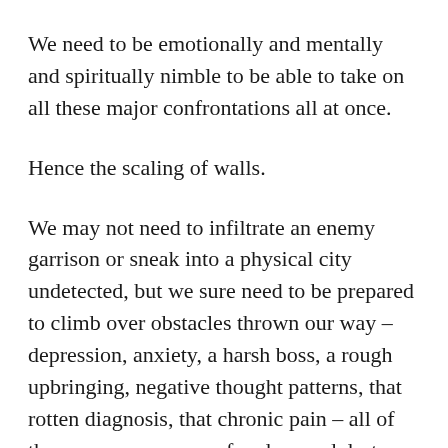We need to be emotionally and mentally and spiritually nimble to be able to take on all these major confrontations all at once.
Hence the scaling of walls.
We may not need to infiltrate an enemy garrison or sneak into a physical city undetected, but we sure need to be prepared to climb over obstacles thrown our way – depression, anxiety, a harsh boss, a rough upbringing, negative thought patterns, that rotten diagnosis, that chronic pain – all of these can conquer our freedom and destroy our joy.
And we need to fight for both of those! Freedom